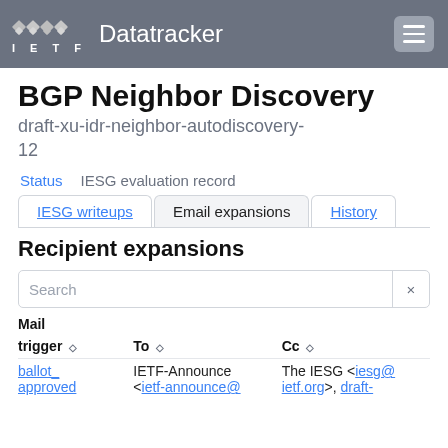IETF Datatracker
BGP Neighbor Discovery
draft-xu-idr-neighbor-autodiscovery-12
Status   IESG evaluation record
IESG writeups   Email expansions   History
Recipient expansions
Search
| Mail trigger | To | Cc |
| --- | --- | --- |
| ballot_
approved | IETF-Announce
<ietf-announce@ | The IESG <iesg@
ietf.org>, draft- |